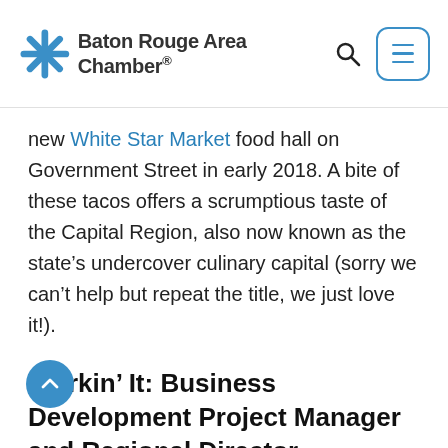Baton Rouge Area Chamber
new White Star Market food hall on Government Street in early 2018. A bite of these tacos offers a scrumptious taste of the Capital Region, also now known as the state’s undercover culinary capital (sorry we can’t help but repeat the title, we just love it!).
Workin’ It: Business Development Project Manager and Regional Director
The Baton Rouge Area Chamber (BRAC) is currently seeking two positions on its business development team. The organization seeks a project manager to support economic development in the Capital Region by maintaining a marketable inventory of industrial and